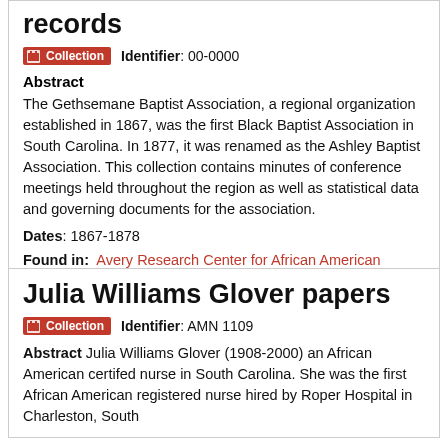records
Collection   Identifier: 00-0000
Abstract
The Gethsemane Baptist Association, a regional organization established in 1867, was the first Black Baptist Association in South Carolina. In 1877, it was renamed as the Ashley Baptist Association. This collection contains minutes of conference meetings held throughout the region as well as statistical data and governing documents for the association.
Dates: 1867-1878
Found in: Avery Research Center for African American History and Culture
Julia Williams Glover papers
Collection   Identifier: AMN 1109
Abstract Julia Williams Glover (1908-2000) an African American certifed nurse in South Carolina. She was the first African American registered nurse hired by Roper Hospital in Charleston, South